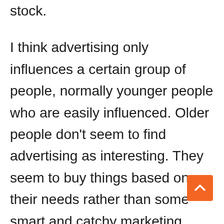stock. I think advertising only influences a certain group of people, normally younger people who are easily influenced. Older people don't seem to find advertising as interesting. They seem to buy things based on their needs rather than some smart and catchy marketing campaign. The big brand names are expert at trying to influence young people with their slick advertisements and publicity and they are always trying to convince us that we need to have the newest and latest of everything,